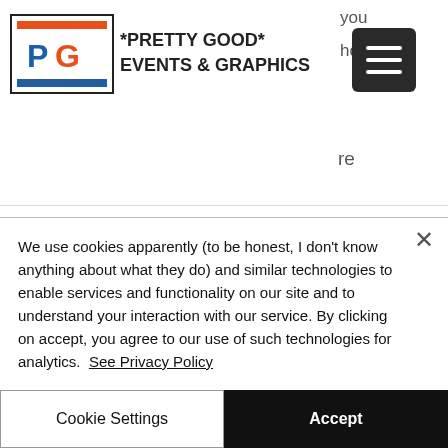*PRETTY GOOD* EVENTS & GRAPHICS
...re creating a screen show, don't use the light bulb over the head, nor bags of money and stacks of coins to denote commercial success
Don't run your notebook on
We use cookies apparently (to be honest, I don't know anything about what they do) and similar technologies to enable services and functionality on our site and to understand your interaction with our service. By clicking on accept, you agree to our use of such technologies for analytics. See Privacy Policy
Cookie Settings
Accept